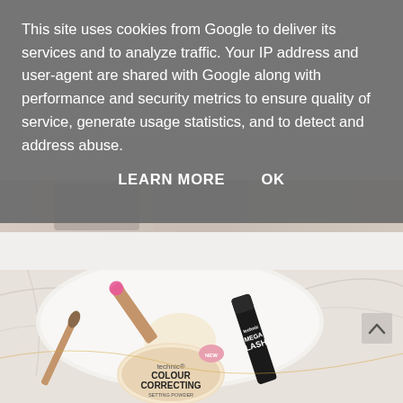This site uses cookies from Google to deliver its services and to analyze traffic. Your IP address and user-agent are shared with Google along with performance and security metrics to ensure quality of service, generate usage statistics, and to detect and address abuse.
LEARN MORE   OK
[Figure (photo): Partial view of beauty/makeup products at top of page, partially obscured by cookie consent overlay. Below, a flat-lay product photo on a marble surface showing Technic Mega Lash mascara, a lip gloss/lipstick, and Technic Colour Correcting Setting Powder compact.]